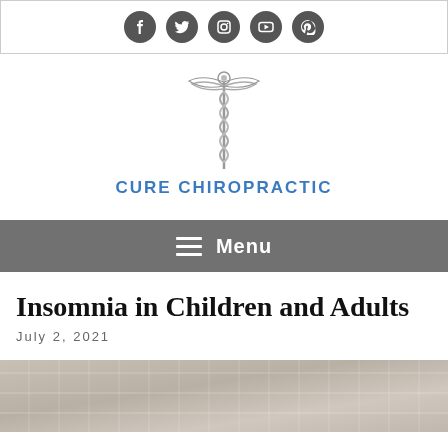Social media icons: Facebook, Twitter, Instagram, YouTube, Pinterest
[Figure (logo): Cure Chiropractic caduceus medical symbol logo in silver/grey]
CURE CHIROPRACTIC
Menu
Insomnia in Children and Adults
July 2, 2021
[Figure (photo): Close-up photo of white/beige wrinkled bedsheets or fabric]